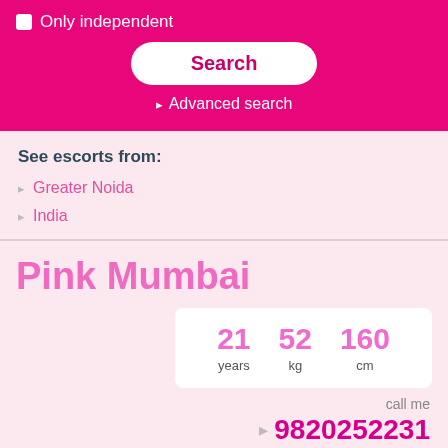Only independent
Search
Advanced search
See escorts from:
Greater Noida
India
Pink Mumbai
21 years   52 kg   160 cm
call me
9820252231